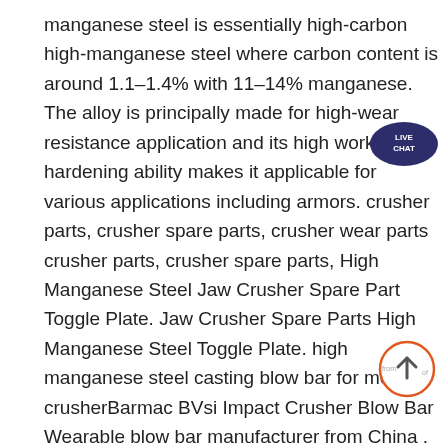manganese steel is essentially high-carbon high-manganese steel where carbon content is around 1.1–1.4% with 11–14% manganese. The alloy is principally made for high-wear resistance application and its high work hardening ability makes it applicable for various applications including armors. crusher parts, crusher spare parts, crusher wear parts crusher parts, crusher spare parts, High Manganese Steel Jaw Crusher Spare Part Toggle Plate. Jaw Crusher Spare Parts High Manganese Steel Toggle Plate. high manganese steel casting blow bar for mesto crusherBarmac BVsi Impact Crusher Blow Bar Wearable blow bar manufacturer from China . The blow bar material depends on what kind of raw material the impact machine crush. wearable Exporters, Suppliers, Wholesalers, Distributorscrusher wearable parts-wear knife. FOB (Free On Board) Mining-related Equipment. China. USD $60. Per UNIT. Anhui Weier Wearable Material Manufacture Co.,Ltd. More. Get Quotation Tags: VSI Crusher,VSI Crusher Parts,Crusher
[Figure (other): Live Chat speech bubble icon with text LIVE CHAT in white on dark navy/purple background]
[Figure (other): Scroll-to-top circular button with orange border and upward arrow, with text 'from' and 'of' on the sides]